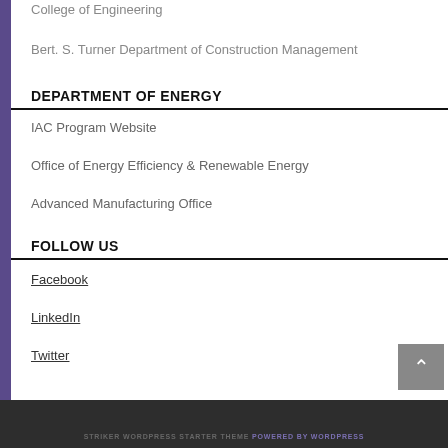College of Engineering
Bert. S. Turner Department of Construction Management
DEPARTMENT OF ENERGY
IAC Program Website
Office of Energy Efficiency & Renewable Energy
Advanced Manufacturing Office
FOLLOW US
Facebook
LinkedIn
Twitter
STRIKER WORDPRESS STARTER THEME POWERED BY WORDPRESS